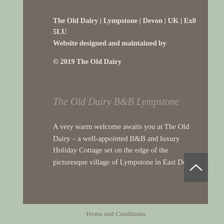The Old Dairy | Lympstone | Devon | UK | Ex8 5LU
Website designed and maintained by
© 2019 The Old Dairy
The Old Dairy B&B Lympstone
A very warm welcome awaits you at The Old Dairy – a well-appointed B&B and luxury Holiday Cottage set on the edge of the picturesque village of Lympstone in East Devon.
Terms and Conditions